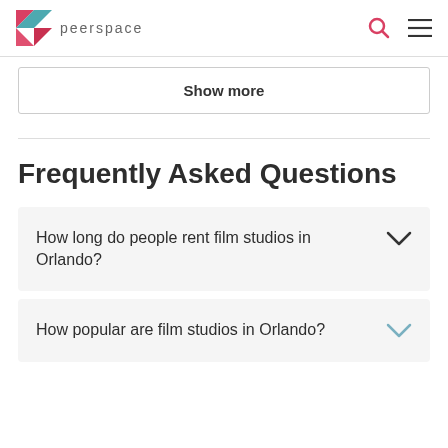peerspace
Show more
Frequently Asked Questions
How long do people rent film studios in Orlando?
How popular are film studios in Orlando?